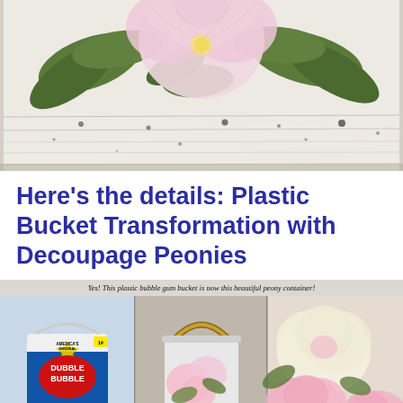[Figure (photo): Close-up photo of a botanical decoupage surface showing a pink peony flower with green leaves on a weathered white wooden plank background with dark speckles]
Here’s the details: Plastic Bucket Transformation with Decoupage Peonies
[Figure (photo): Triptych collage showing: left panel - a plain white Dubble Bubble plastic bucket, center panel - the same bucket transformed with rope handle and peony decoupage, right panel - close-up of pink and cream peony flowers. Caption reads: Yes! This plastic bubble gum bucket is now this beautiful peony container!]